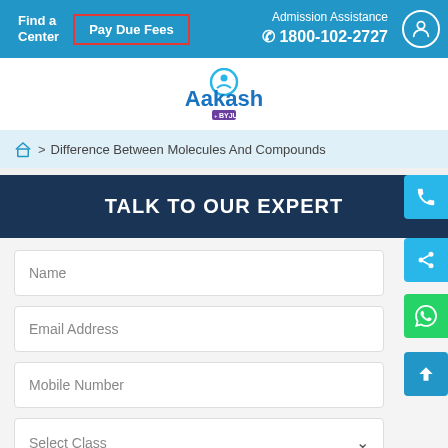Find a Center | Pay Due Fees | Admission Assistance 1800-102-2727
[Figure (logo): Aakash + BYJU'S logo with circular icon above text]
Difference Between Molecules And Compounds
TALK TO OUR EXPERT
Name
Email Address
Mobile Number
Select Class